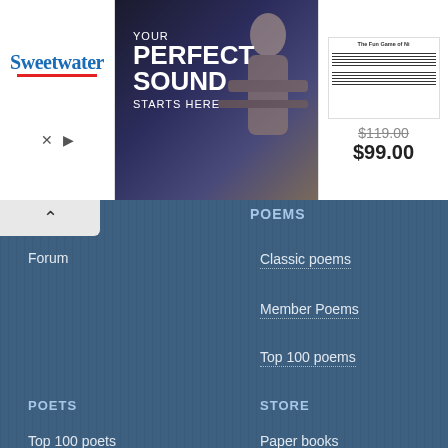[Figure (screenshot): Sweetwater audio equipment advertisement banner with 'YOUR PERFECT SOUND STARTS HERE' text, guitarist image, and sheet music product showing $119.00 crossed out and $99.00 price]
POEMS
Forum
Classic poems
Member Poems
Top 100 poems
POETS
STORE
Top 100 poets
Paper books
Explore poets
Copyrighted poems are the property of the copyright holders. All poems are shown free of charge for educational purposes only in accordance with fair use guidelines. If we have inadvertently included a copyrighted poem that the copyright holder does not wish to be displayed, we will take the poem down within 48 hours upon notification by the owner or the owner's legal representative (please use the contact form at http://www.poetrynook.com/contact or email "admin [at] poetrynook [dot] com"). By registering with PoetryNook.Com and adding a poem, you represent that you own the copyright to that poem and are granting PoetryNook.Com permission to publish the poem.